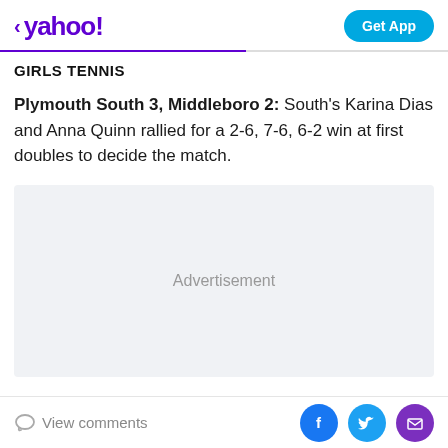< yahoo!  Get App
GIRLS TENNIS
Plymouth South 3, Middleboro 2: South's Karina Dias and Anna Quinn rallied for a 2-6, 7-6, 6-2 win at first doubles to decide the match.
[Figure (other): Advertisement placeholder box]
View comments  [Facebook] [Twitter] [Email]